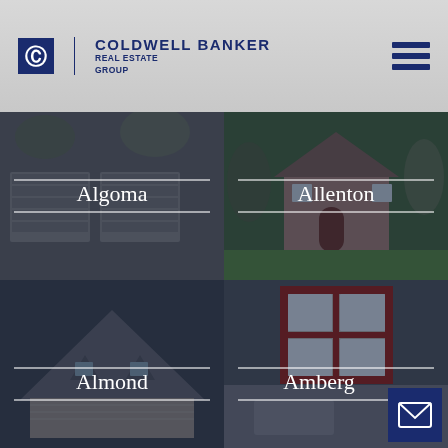[Figure (logo): Coldwell Banker Real Estate Group logo with CB icon, company name, and hamburger menu icon]
[Figure (photo): Property image for Algoma – house/garage exterior with dark overlay and 'Algoma' label]
[Figure (photo): Property image for Allenton – house exterior with trees and dark overlay and 'Allenton' label]
[Figure (photo): Property image for Almond – house roofline exterior with dark overlay and 'Almond' label]
[Figure (photo): Property image for Amberg – interior/exterior house view with dark overlay and 'Amberg' label]